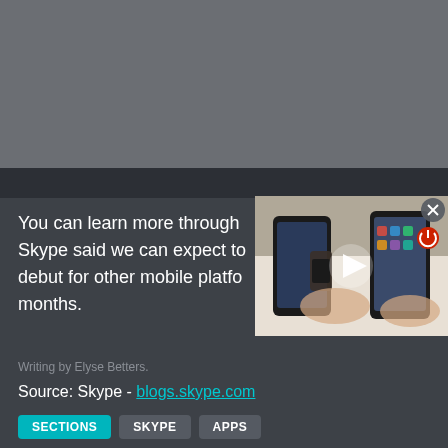[Figure (photo): Top gray background area representing a darkened/blurred background]
You can learn more through Skype said we can expect to debut for other mobile platforms months.
[Figure (screenshot): Video thumbnail showing two smartphones being held side by side on a white surface, with a white play button triangle overlay, a red power icon and an X close button]
Writing by Elyse Betters.
Source: Skype - blogs.skype.com
SECTIONS
SKYPE
APPS